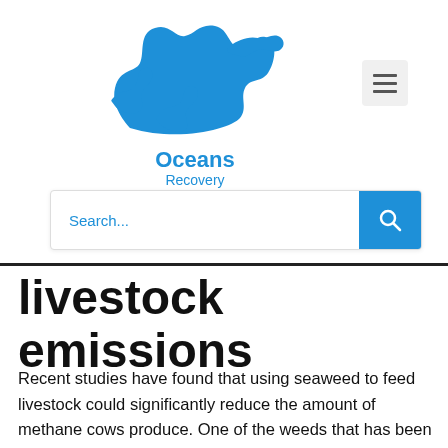[Figure (logo): Oceans Recovery logo: blue wave illustration above text 'Oceans Recovery']
[Figure (other): Hamburger menu button (three horizontal lines) in a light grey rounded square]
[Figure (other): Search bar with placeholder 'Search...' in blue text and a blue search button with magnifying glass icon]
livestock emissions
Recent studies have found that using seaweed to feed livestock could significantly reduce the amount of methane cows produce. One of the weeds that has been fronted for this...